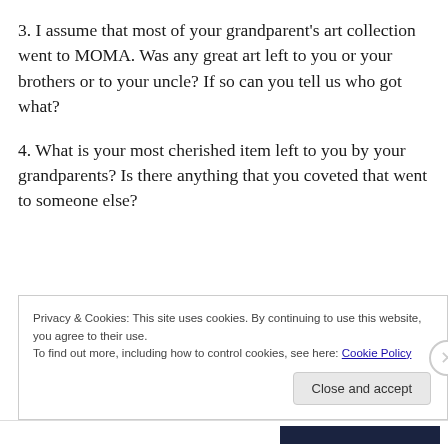3. I assume that most of your grandparent's art collection went to MOMA. Was any great art left to you or your brothers or to your uncle? If so can you tell us who got what?
4. What is your most cherished item left to you by your grandparents? Is there anything that you coveted that went to someone else?
Privacy & Cookies: This site uses cookies. By continuing to use this website, you agree to their use.
To find out more, including how to control cookies, see here: Cookie Policy